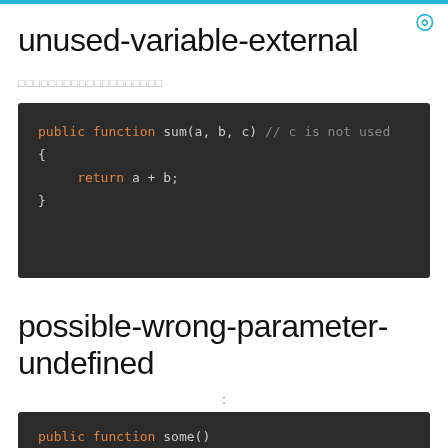unused-variable-external
□□□□□□□□□□□□□□□□□□□
[Figure (screenshot): Dark code block showing: public function sum(a, b, c) // c is not used { return a + b; }]
possible-wrong-parameter-undefined
:
[Figure (screenshot): Dark code block showing: public function some() {]